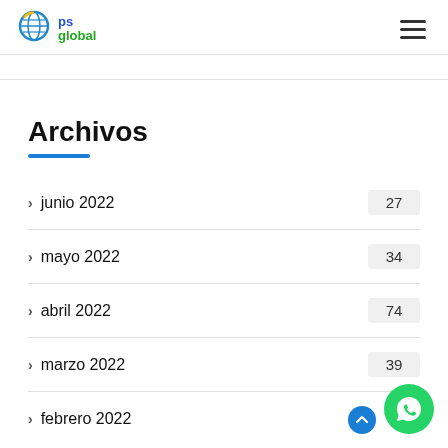GPS Global logo and navigation
Archivos
> junio 2022  27
> mayo 2022  34
> abril 2022  74
> marzo 2022  39
> febrero 2022